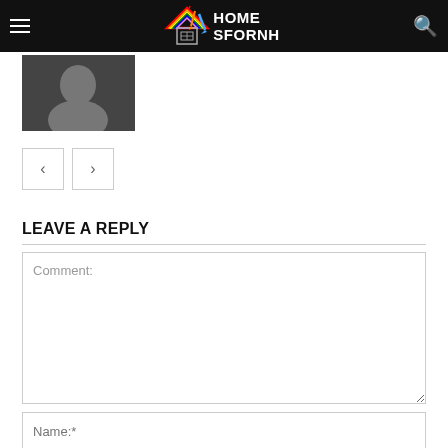HOME SFORNH
[Figure (photo): Small thumbnail photo of a person, grayscale]
[Figure (other): Navigation previous/next arrow buttons]
LEAVE A REPLY
Comment: (text area input field)
Name:* (text input field)
(email input field, partially visible)